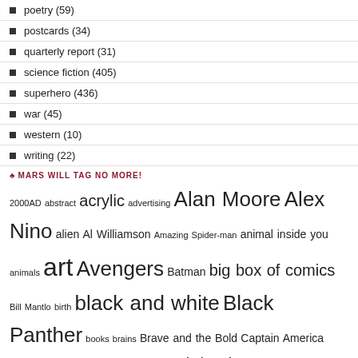poetry (59)
postcards (34)
quarterly report (31)
science fiction (405)
superhero (436)
war (45)
western (10)
writing (22)
♣ MARS WILL TAG NO MORE!
2000AD abstract acrylic advertising Alan Moore Alex Nino alien Al Williamson Amazing Spider-man animal inside you animals art Avengers Batman big box of comics Bill Mantlo birth black and white Black Panther books brains Brave and the Bold Captain America Carmine Infantino cats Charles Yates Chris Claremont Classics Illustrated collage collection comic book collage comic books crime Dark